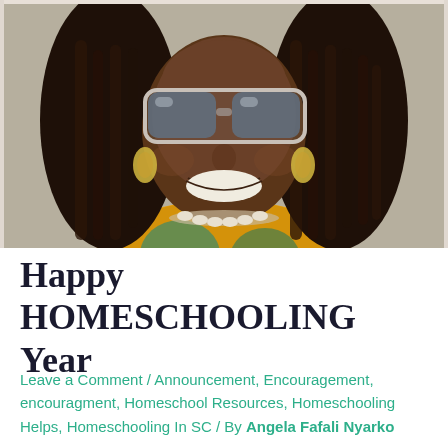[Figure (photo): Portrait photo of Angela Fafali Nyarko, a Black woman with long locs, wearing sunglasses, a shell necklace, and a bright yellow/teal floral top, smiling broadly outdoors.]
Happy HOMESCHOOLING Year
Leave a Comment / Announcement, Encouragement, encouragment, Homeschool Resources, Homeschooling Helps, Homeschooling In SC / By Angela Fafali Nyarko